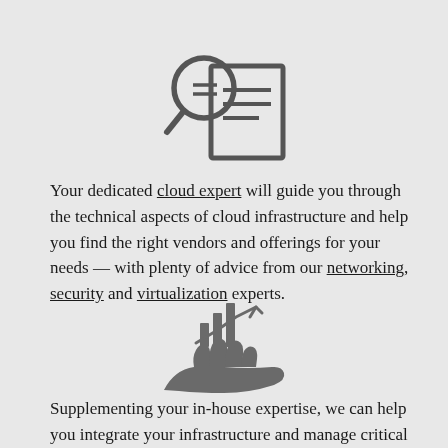[Figure (illustration): Icon of a magnifying glass overlaid on a document/page, with horizontal lines suggesting text on the document. Dark outline style on light gray background.]
Your dedicated cloud expert will guide you through the technical aspects of cloud infrastructure and help you find the right vendors and offerings for your needs — with plenty of advice from our networking, security and virtualization experts.
[Figure (illustration): Icon of a hand holding/presenting a bar chart with an upward trend line, suggesting financial or analytical support. Dark gray filled style on light gray background.]
Supplementing your in-house expertise, we can help you integrate your infrastructure and manage critical